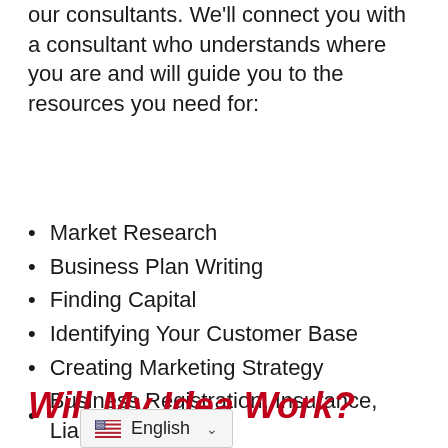This course also prepares you to work one-on-one with our consultants. We'll connect you with a consultant who understands where you are and will guide you to the resources you need for:
Market Research
Business Plan Writing
Finding Capital
Identifying Your Customer Base
Creating Marketing Strategy
Business Registration, Insurance, Liability
Register for Consulting
Will My Idea Work?